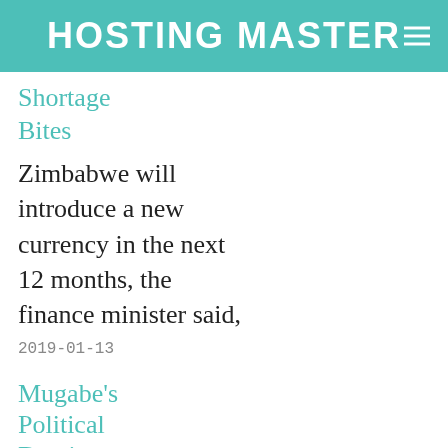HOSTING MASTER≡
Shortage
Bites
Zimbabwe will introduce a new currency in the next 12 months, the finance minister said,
2019-01-13
Mugabe's Political Demise Brings Hope to